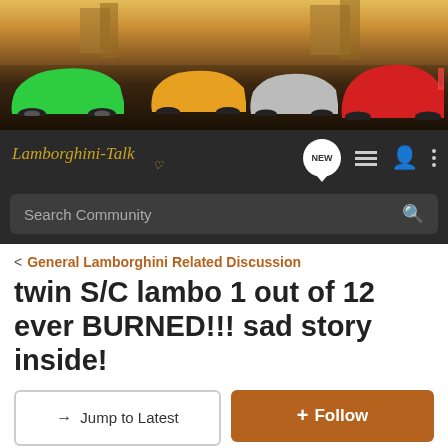[Figure (photo): Lamborghini banner showing multiple exotic sports cars (green, yellow/orange, silver, red) parked in front of a European city backdrop with warm golden lighting]
Lamborghini-Talk — Navigation bar with NEW, list, user, and menu icons plus Search Community search bar
< General Lamborghini Related Discussion
twin S/C lambo 1 out of 12 ever BURNED!!! sad story inside!
→ Jump to Latest   + Follow
1 - 14 of 14 Posts